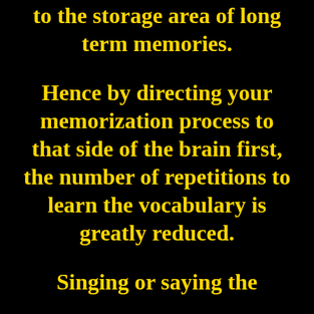to the storage area of long term memories.
Hence by directing your memorization process to that side of the brain first, the number of repetitions to learn the vocabulary is greatly reduced.
Singing or saying the